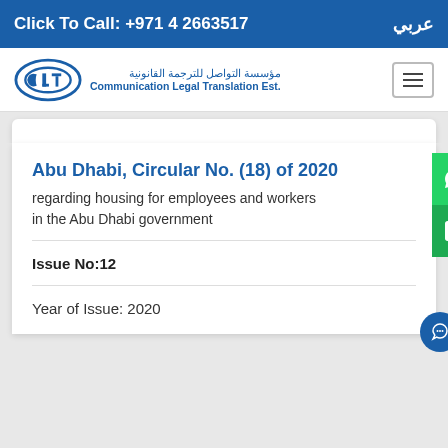Click To Call: +971 4 2663517 | عربي
[Figure (logo): Communication Legal Translation Est. logo with Arabic text مؤسسة التواصل للترجمة القانونية and English text Communication Legal Translation Est.]
Abu Dhabi, Circular No. (18) of 2020
regarding housing for employees and workers in the Abu Dhabi government
Issue No:12
Year of Issue: 2020